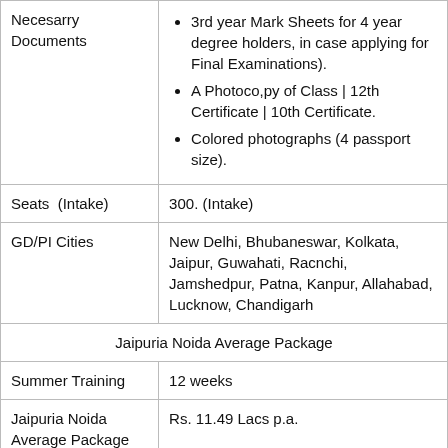| Necesarry Documents | 3rd year Mark Sheets for 4 year degree holders, in case applying for Final Examinations).
A Photoco,py of Class | 12th Certificate | 10th Certificate.
Colored photographs (4 passport size). |
| Seats  (Intake) | 300. (Intake) |
| GD/PI Cities | New Delhi, Bhubaneswar, Kolkata, Jaipur, Guwahati, Racnchi, Jamshedpur, Patna, Kanpur, Allahabad, Lucknow, Chandigarh |
| Jaipuria Noida Average Package |  |
| Summer Training | 12 weeks |
| Jaipuria Noida Average Package | Rs. 11.49 Lacs p.a. |
| No of placements |  |